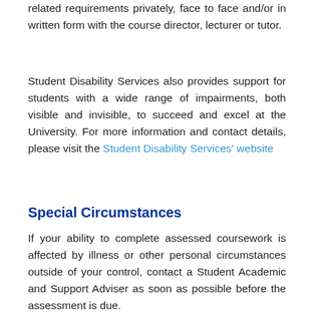related requirements privately, face to face and/or in written form with the course director, lecturer or tutor.
Student Disability Services also provides support for students with a wide range of impairments, both visible and invisible, to succeed and excel at the University. For more information and contact details, please visit the Student Disability Services' website
Special Circumstances
If your ability to complete assessed coursework is affected by illness or other personal circumstances outside of your control, contact a Student Academic and Support Adviser as soon as possible before the assessment is due.